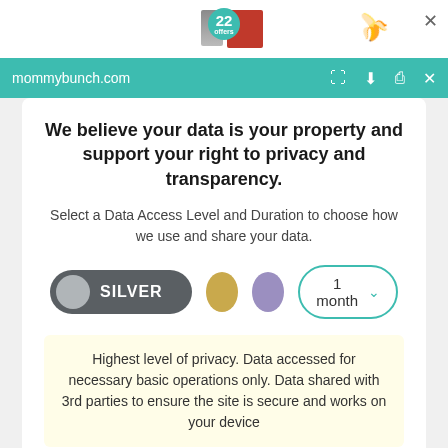[Figure (screenshot): Top browser chrome bar with teal background showing mommybunch.com URL and browser action icons (expand, download, print, close), plus an ad strip above with product images, a counter badge showing '22', and a close X button.]
We believe your data is your property and support your right to privacy and transparency.
Select a Data Access Level and Duration to choose how we use and share your data.
[Figure (infographic): Privacy level selector row with: a dark toggle button showing 'SILVER' with a grey knob, a gold circle, a purple circle, and a '1 month' dropdown with teal border and chevron.]
Highest level of privacy. Data accessed for necessary basic operations only. Data shared with 3rd parties to ensure the site is secure and works on your device
Save my preferences
Customize
Privacy policy | Do Not Sell